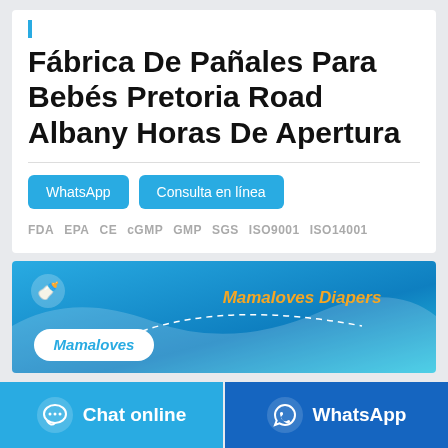Fábrica De Pañales Para Bebés Pretoria Road Albany Horas De Apertura
WhatsApp  Consulta en línea
FDA  EPA  CE  cGMP  GMP  SGS  ISO9001  ISO14001
[Figure (illustration): Mamaloves Diapers banner with blue gradient background, Mamaloves logo in white bubble, and 'Mamaloves Diapers' text in orange/yellow]
Chat online
WhatsApp